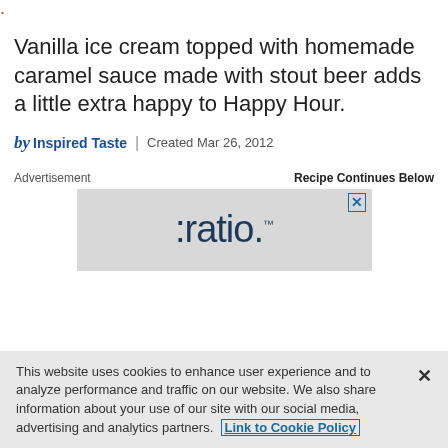· ·
Vanilla ice cream topped with homemade caramel sauce made with stout beer adds a little extra happy to Happy Hour.
by Inspired Taste | Created Mar 26, 2012
Advertisement   Recipe Continues Below
[Figure (screenshot): Advertisement banner showing ':ratio.' logo with TM mark on grey background with close button]
This website uses cookies to enhance user experience and to analyze performance and traffic on our website. We also share information about your use of our site with our social media, advertising and analytics partners. Link to Cookie Policy